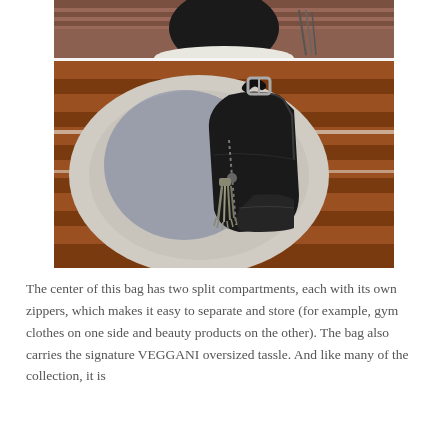[Figure (photo): Two stacked photos of a person wearing a black VEGGANI sling backpack with an oversized tassel. The person is wearing a light gray/cream sweater and standing in front of a wooden bench/railing. The bag is dark/black leather-style with a zipper and decorative tassel, worn as a sling across the back.]
The center of this bag has two split compartments, each with its own zippers, which makes it easy to separate and store (for example, gym clothes on one side and beauty products on the other). The bag also carries the signature VEGGANI oversized tassle. And like many of the collection, it is